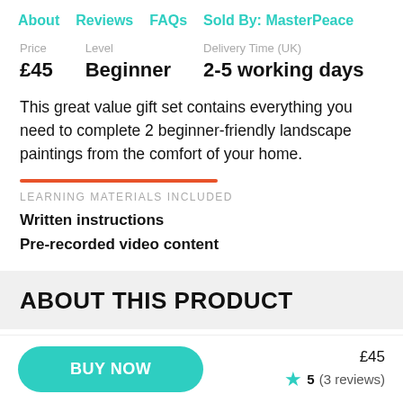About   Reviews   FAQs   Sold By: MasterPeace
| Price | Level | Delivery Time (UK) |
| --- | --- | --- |
| £45 | Beginner | 2-5 working days |
This great value gift set contains everything you need to complete 2 beginner-friendly landscape paintings from the comfort of your home.
LEARNING MATERIALS INCLUDED
Written instructions
Pre-recorded video content
ABOUT THIS PRODUCT